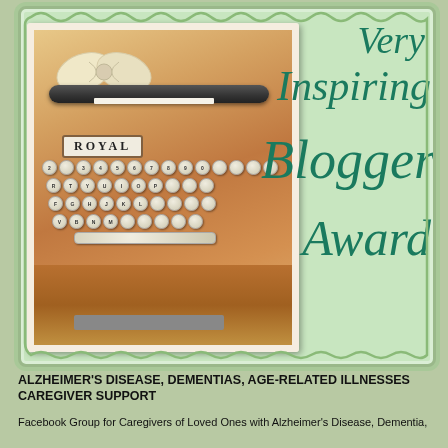[Figure (illustration): Very Inspiring Blogger Award graphic showing a vintage Royal typewriter with a white bow on top, set against a mint green background with scalloped border. Italic teal script text reading 'Very Inspiring Blogger Award' overlays the image.]
ALZHEIMER'S DISEASE, DEMENTIAS, AGE-RELATED ILLNESSES CAREGIVER SUPPORT
Facebook Group for Caregivers of Loved Ones with Alzheimer's Disease, Dementia,